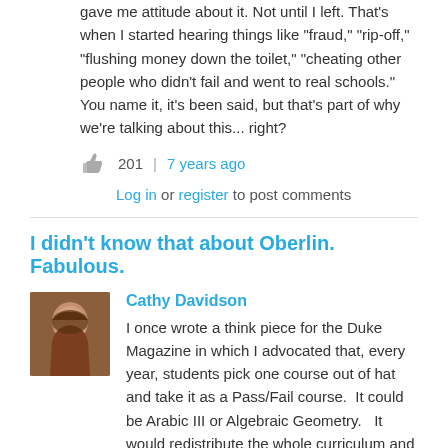gave me attitude about it. Not until I left. That's when I started hearing things like "fraud," "rip-off," "flushing money down the toilet," "cheating other people who didn't fail and went to real schools." You name it, it's been said, but that's part of why we're talking about this... right?
201 | 7 years ago
Log in or register to post comments
I didn't know that about Oberlin. Fabulous.
Cathy Davidson
I once wrote a think piece for the Duke Magazine in which I advocated that, every year, students pick one course out of hat and take it as a Pass/Fail course.  It could be Arabic III or Algebraic Geometry.   It would redistribute the whole curriculum and it would mean